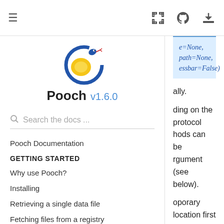≡   [fullscreen] [github] [download]
[Figure (logo): Pooch library logo: a snake curled around a yellow lemon/citrus fruit]
Pooch v1.6.0
Search the docs ...
Pooch Documentation
GETTING STARTED
Why use Pooch?
Installing
Retrieving a single data file
Fetching files from a registry
Manage a package's sample data
e=None, path=None, essbar=False)
ally.
ding on the protocol hods can be rgument (see below).
oporary location first given known_hash. load happened oesn't match, the file be raised.
ash will be compared